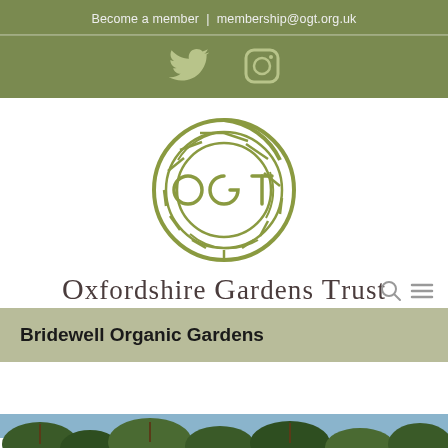Become a member | membership@ogt.org.uk
[Figure (logo): Twitter and Instagram social media icons on olive green background]
[Figure (logo): Oxfordshire Gardens Trust circular maze logo with OGT initials]
Oxfordshire Gardens Trust
Bridewell Organic Gardens
[Figure (photo): Partial view of garden/trees at bottom of page]